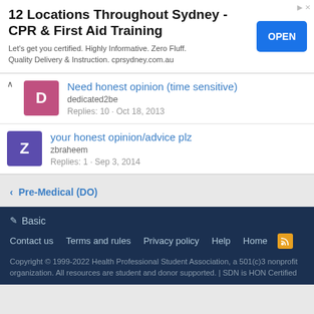[Figure (screenshot): Advertisement banner: '12 Locations Throughout Sydney - CPR & First Aid Training' with OPEN button]
12 Locations Throughout Sydney - CPR & First Aid Training
Let's get you certified. Highly Informative. Zero Fluff. Quality Delivery & Instruction. cprsydney.com.au
Need honest opinion (time sensitive)
dedicated2be
Replies: 10 · Oct 18, 2013
your honest opinion/advice plz
zbraheem
Replies: 1 · Sep 3, 2014
Pre-Medical (DO)
Basic
Contact us   Terms and rules   Privacy policy   Help   Home
Copyright © 1999-2022 Health Professional Student Association, a 501(c)3 nonprofit organization. All resources are student and donor supported. | SDN is HON Certified